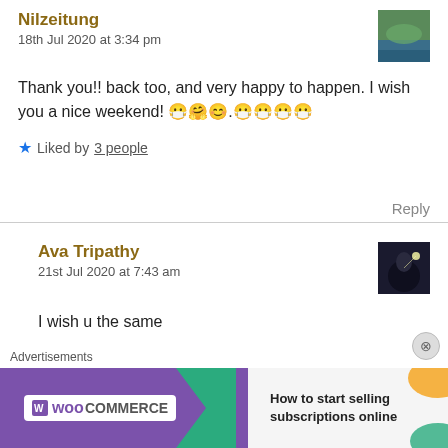Nilzeitung
18th Jul 2020 at 3:34 pm
Thank you!! back too, and very happy to happen. I wish you a nice weekend! 😷🤗😊.😷😷😷😷
★ Liked by 3 people
Reply
Ava Tripathy
21st Jul 2020 at 7:43 am
I wish u the same
[Figure (other): WooCommerce advertisement banner: How to start selling subscriptions online]
Advertisements